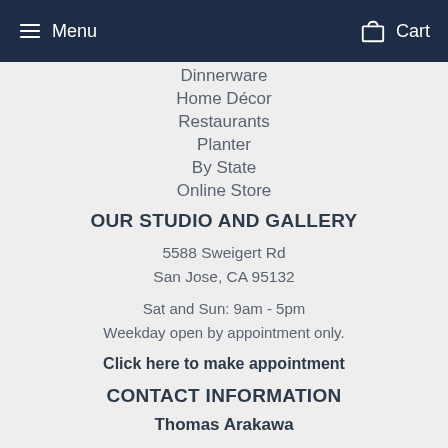Menu  Cart
Dinnerware
Home Décor
Restaurants
Planter
By State
Online Store
OUR STUDIO AND GALLERY
5588 Sweigert Rd
San Jose, CA 95132
Sat and Sun: 9am - 5pm
Weekday open by appointment only.
Click here to make appointment
CONTACT INFORMATION
Thomas Arakawa